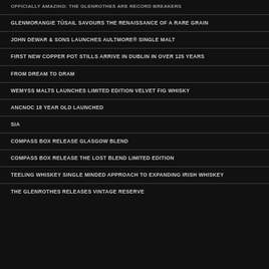OFFICIALLY AMAZING: THE GLENROTHES ARE RECORD BREAKERS
GLENMORANGIE TÙSAIL SAVOURS THE RENAISSANCE OF A RARE GRAIN
JOHN DEWAR & SONS LAUNCHES AULTMORE® SINGLE MALT
FIRST NEW COPPER POT STILLS ARRIVE IN DUBLIN IN OVER 125 YEARS
FROM DREAM TO DRAM
WEMYSS MALTS LAUNCHES LIMITED EDITION VELVET FIG WHISKY
ANCNOC 18 YEAR OLD LAUNCHED
SIA
COMPASS BOX RELEASE GLASGOW BLEND
COMPASS BOX RELEASE THE LOST BLEND LIMITED EDITION
TEELING WHISKEY SINGLE MINDED APPROACH TO EXPANDING IRISH WHISKEY
THE GLENROTHES RELEASES VINTAGE RESERVE